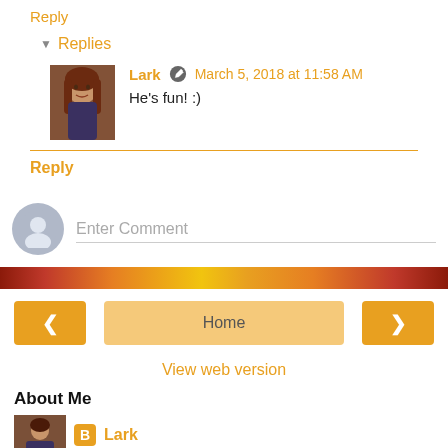Reply
Replies
Lark  March 5, 2018 at 11:58 AM
He's fun! :)
Reply
Enter Comment
[Figure (infographic): Decorative orange/red/yellow gradient banner]
< Home >
View web version
About Me
Lark